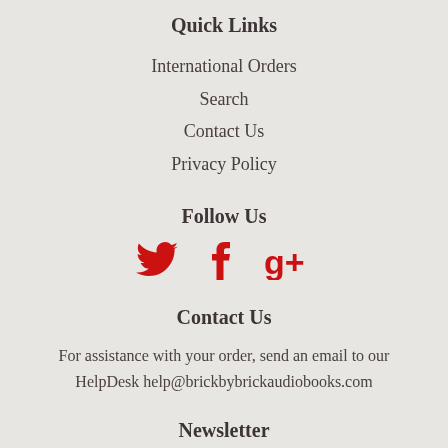Quick Links
International Orders
Search
Contact Us
Privacy Policy
Follow Us
[Figure (illustration): Three social media icons in red: Twitter bird, Facebook f, Google+ g+]
Contact Us
For assistance with your order, send an email to our HelpDesk help@brickbybrickaudiobooks.com
Newsletter